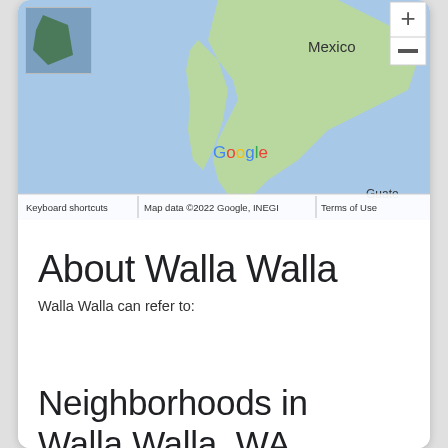[Figure (map): Google Maps screenshot showing Mexico and surrounding region with zoom controls, thumbnail inset, Google logo, and map attribution footer reading 'Keyboard shortcuts | Map data ©2022 Google, INEGI | Terms of Use']
About Walla Walla
Walla Walla can refer to:
Neighborhoods in Walla Walla, WA
Affinity at Walla Walla, Barney Elementary